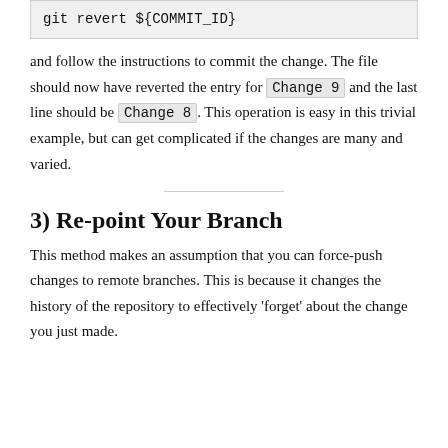[Figure (screenshot): Code block showing git revert command with variable ${COMMIT_ID}]
and follow the instructions to commit the change. The file should now have reverted the entry for Change 9 and the last line should be Change 8. This operation is easy in this trivial example, but can get complicated if the changes are many and varied.
3) Re-point Your Branch
This method makes an assumption that you can force-push changes to remote branches. This is because it changes the history of the repository to effectively 'forget' about the change you just made.